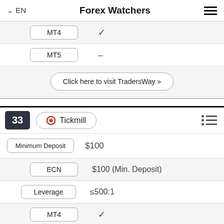EN   Forex Watchers
| MT4 | ✓ |
| MT5 | – |
| Click here to visit TradersWay » |  |
| 33 | Tickmill |  |
| Minimum Deposit | $100 |
| ECN | $100 (Min. Deposit) |
| Leverage | ≤500:1 |
| MT4 | ✓ |